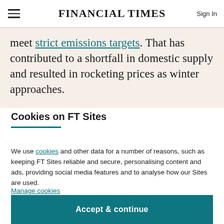FINANCIAL TIMES
meet strict emissions targets. That has contributed to a shortfall in domestic supply and resulted in rocketing prices as winter approaches.
Cookies on FT Sites
We use cookies and other data for a number of reasons, such as keeping FT Sites reliable and secure, personalising content and ads, providing social media features and to analyse how our Sites are used.
Manage cookies
Accept & continue